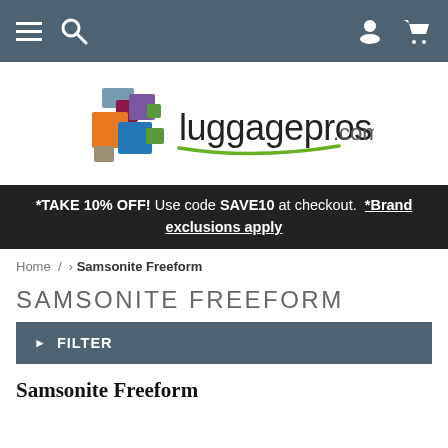Navigation bar with hamburger menu, search icon, account icon, and cart icon
[Figure (logo): luggagepros.com logo with colorful geometric squares icon and green underline]
*TAKE 10% OFF! Use code SAVE10 at checkout. *Brand exclusions apply
Home / › Samsonite Freeform
SAMSONITE FREEFORM
▶ FILTER
Samsonite Freeform